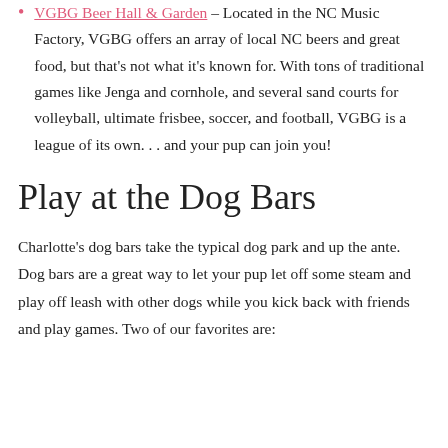VGBG Beer Hall & Garden – Located in the NC Music Factory, VGBG offers an array of local NC beers and great food, but that's not what it's known for. With tons of traditional games like Jenga and cornhole, and several sand courts for volleyball, ultimate frisbee, soccer, and football, VGBG is a league of its own. . . and your pup can join you!
Play at the Dog Bars
Charlotte's dog bars take the typical dog park and up the ante. Dog bars are a great way to let your pup let off some steam and play off leash with other dogs while you kick back with friends and play games. Two of our favorites are: